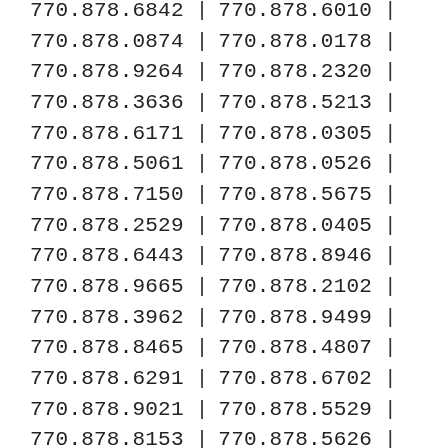| Col1 | Sep | Col2 | Sep2 |
| --- | --- | --- | --- |
| 770.878.6842 | | | 770.878.6010 | | |
| 770.878.0874 | | | 770.878.0178 | | |
| 770.878.9264 | | | 770.878.2320 | | |
| 770.878.3636 | | | 770.878.5213 | | |
| 770.878.6171 | | | 770.878.0305 | | |
| 770.878.5061 | | | 770.878.0526 | | |
| 770.878.7150 | | | 770.878.5675 | | |
| 770.878.2529 | | | 770.878.0405 | | |
| 770.878.6443 | | | 770.878.8946 | | |
| 770.878.9665 | | | 770.878.2102 | | |
| 770.878.3962 | | | 770.878.9499 | | |
| 770.878.8465 | | | 770.878.4807 | | |
| 770.878.6291 | | | 770.878.6702 | | |
| 770.878.9021 | | | 770.878.5529 | | |
| 770.878.8153 | | | 770.878.5626 | | |
| 770.878.7745 | | | 770.878.0576 | | |
| 770.878.1785 | | | 770.878.5942 | | |
| 770.878.1763 | | | 770.878.1631 | | |
| 770.878.5000 | | | 770.878.0170 | | |